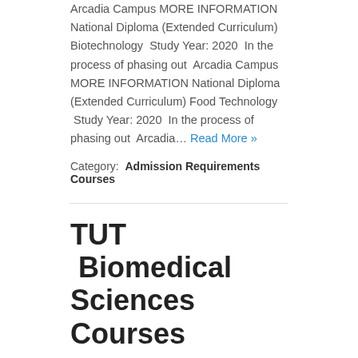Arcadia Campus MORE INFORMATION National Diploma (Extended Curriculum) Biotechnology  Study Year: 2020  In the process of phasing out  Arcadia Campus MORE INFORMATION National Diploma (Extended Curriculum) Food Technology  Study Year: 2020  In the process of phasing out  Arcadia… Read More »
Category:  Admission Requirements  Courses
TUT  Biomedical Sciences Courses
TUT  Biomedical Sciences Courses National Diploma Biomedical Technology Study Year: 2020  Arcadia Campus MORE INFORMATION National Diploma Clinical Technology Study Year: 2020  Arcadia Campus MORE INFORMATION National Diploma Radiography: Diagnostic